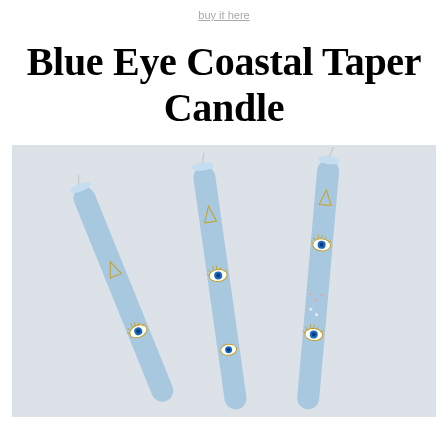buy it here
Blue Eye Coastal Taper Candle
[Figure (photo): Three light blue taper candles decorated with painted blue eye motifs and gold triangular designs, laid flat against a light grey textured background.]